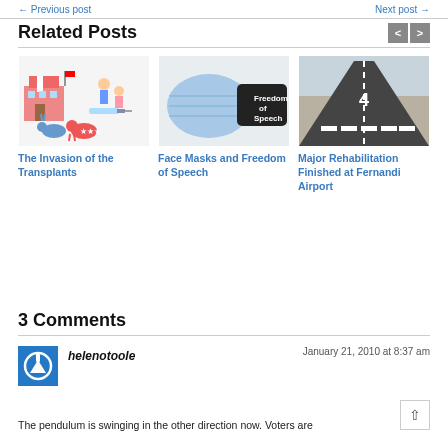← Previous post   Next post →
Related Posts
[Figure (illustration): Cartoon illustration with school building, family, syringe, political party animals (elephant and donkey)]
The Invasion of the Transplants
[Figure (photo): Blue surgical face mask next to a black mask with 'Freedom of Speech' text]
Face Masks and Freedom of Speech
[Figure (photo): Aerial view of airport runway with number 4 marking]
Major Rehabilitation Finished at Fernandi Airport
3 Comments
helenotoole
January 21, 2010 at 8:37 am
The pendulum is swinging in the other direction now. Voters are